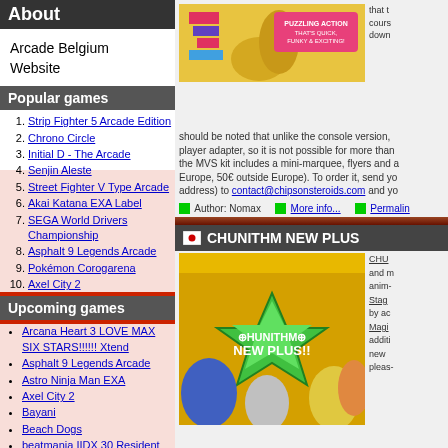About
Arcade Belgium Website
Popular games
Strip Fighter 5 Arcade Edition
Chrono Circle
Initial D - The Arcade
Senjin Aleste
Street Fighter V Type Arcade
Akai Katana EXA Label
SEGA World Drivers Championship
Asphalt 9 Legends Arcade
Pokémon Corogarena
Axel City 2
Upcoming games
Arcana Heart 3 LOVE MAX SIX STARS!!!!!! Xtend
Asphalt 9 Legends Arcade
Astro Ninja Man EXA
Axel City 2
Bayani
Beach Dogs
beatmania IIDX 30 Resident
Bomberman Arcade
Chase Chase Jokers
Daemon Bride exAGAIN
[Figure (screenshot): Puzzle action game promotional image with yellow background and pink text reading PUZZLING ACTION THAT'S QUICK, FUNKY & EXCITING!]
should be noted that unlike the console version, player adapter, so it is not possible for more than the MVS kit includes a mini-marquee, flyers and a Europe, 50€ outside Europe). To order it, send yo address) to contact@chipsonsteroids.com and yo
Author: Nomax   More info...   Permalink
CHUNITHM NEW PLUS
[Figure (screenshot): CHUNITHM NEW PLUS+ game art with anime characters on yellow/gold background]
CHUNITHM and more, anim- Stage by ad- Magic addition, new pleas-
Author: SophieKitty   More info...   Perm-